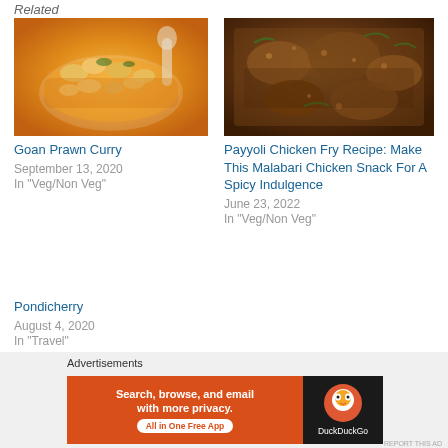Related
[Figure (photo): Photo of Goan Prawn Curry - a bowl of prawns/shrimp in orange curry sauce]
Goan Prawn Curry
September 13, 2020
In "Veg/Non Veg"
[Figure (photo): Photo of Payyoli Chicken Fry - dark spiced fried chicken pieces]
Payyoli Chicken Fry Recipe: Make This Malabari Chicken Snack For A Spicy Indulgence
June 23, 2022
In "Veg/Non Veg"
Pondicherry
August 4, 2020
In "Travel"
Advertisements
[Figure (screenshot): DuckDuckGo advertisement banner: Search, browse, and email with more privacy. All in One Free App. DuckDuckGo logo on dark background.]